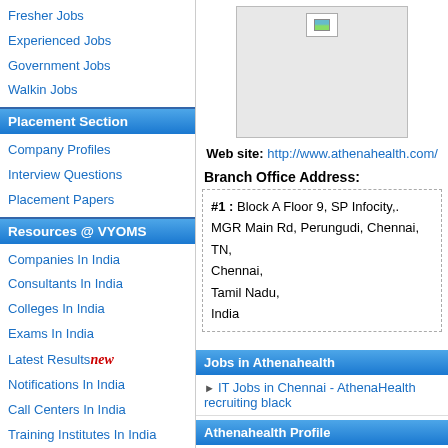Fresher Jobs
Experienced Jobs
Government Jobs
Walkin Jobs
Placement Section
Company Profiles
Interview Questions
Placement Papers
Resources @ VYOMS
Companies In India
Consultants In India
Colleges In India
Exams In India
Latest Results new
Notifications In India
Call Centers In India
Training Institutes In India
Job Communities In India
Courses In India
Jobs by Keyskills
Jobs by Functional Areas
Learn @ VYOMS
GATE Preparation
GRE Preparation
[Figure (photo): Advertisement/image placeholder (gray box with small image icon)]
Web site: http://www.athenahealth.com/
Branch Office Address:
#1 : Block A Floor 9, SP Infocity,. MGR Main Rd, Perungudi, Chennai, TN, Chennai, Tamil Nadu, India
Jobs in Athenahealth
IT Jobs in Chennai - AthenaHealth recruiting black
Athenahealth Profile